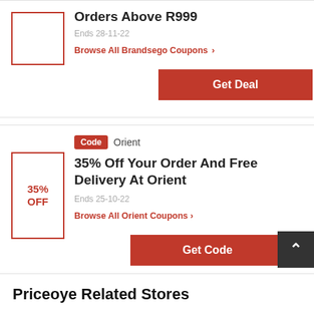Orders Above R999
Ends 28-11-22
Browse All Brandsego Coupons >
Get Deal
Code  Orient
35% Off Your Order And Free Delivery At Orient
Ends 25-10-22
Browse All Orient Coupons >
Get Code
Priceoye Related Stores